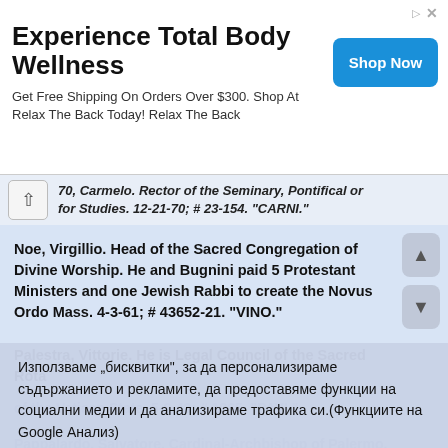[Figure (screenshot): Advertisement banner: 'Experience Total Body Wellness - Get Free Shipping On Orders Over $300. Shop At Relax The Back Today! Relax The Back' with a blue 'Shop Now' button]
70, Carmelo. Rector of the Seminary, Pontifical or for Studies. 12-21-70; # 23-154. "CARNI."
Noe, Virgillio. Head of the Sacred Congregation of Divine Worship. He and Bugnini paid 5 Protestant Ministers and one Jewish Rabbi to create the Novus Ordo Mass. 4-3-61; # 43652-21. "VINO."
Palestra, Vittorie. He is Legal Council of the Sacred Rota of the Vatican State. 5-6-43; # 1965. "PAVI."
Pappalardo, Salvatore. Cardinal-Archbishop of Palermo, Sicily...
Pasquinelli, Dante. Cardinal-Archbishop of Madrid. 1-12-69; # 32-124. "PADA."
Използваме „бисквитки", за да персонализираме съдържанието и рекламите, да предоставяме функции на социални медии и да анализираме трафика си.(Функциите на Google Анализ)
Също така споделяме информация за начина, по който използвате сайта ни, с партньорските си социални медии, рекламните си партньори и партньори за анализ.